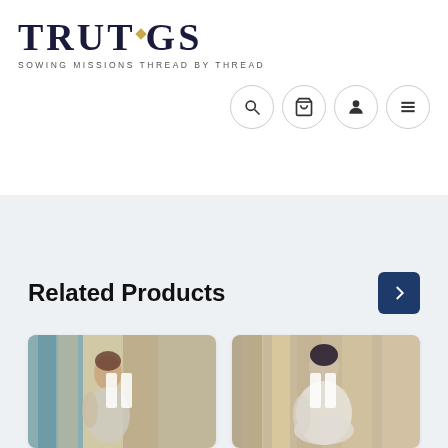[Figure (logo): TRUTOGS logo with diamond accent and tagline 'SOWING MISSIONS THREAD BY THREAD']
[Figure (screenshot): Navigation icons: search, cart, user, menu — circular outline buttons]
Related Products
[Figure (photo): Painting of a woman with brown hair in impressionistic style, blue and warm tones, with pause icon overlay]
[Figure (photo): Painting of a seated woman with dark hair in impressionistic style, warm neutral tones, with pause icon overlay]